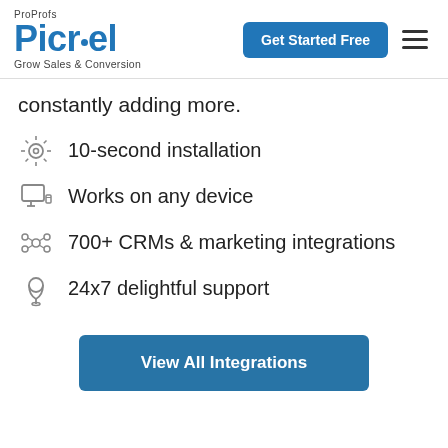ProProfs Picreel — Grow Sales & Conversion | Get Started Free
constantly adding more.
10-second installation
Works on any device
700+ CRMs & marketing integrations
24x7 delightful support
View All Integrations